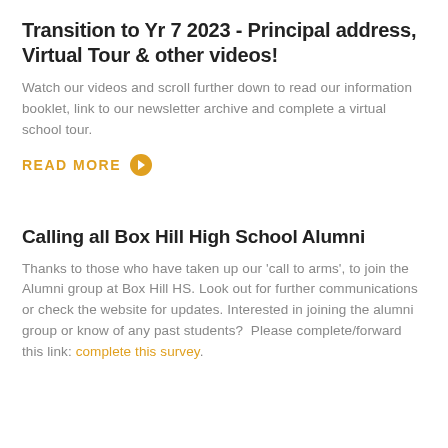Transition to Yr 7 2023 - Principal address, Virtual Tour & other videos!
Watch our videos and scroll further down to read our information booklet, link to our newsletter archive and complete a virtual school tour.
READ MORE →
Calling all Box Hill High School Alumni
Thanks to those who have taken up our 'call to arms', to join the Alumni group at Box Hill HS. Look out for further communications or check the website for updates. Interested in joining the alumni group or know of any past students?  Please complete/forward this link: complete this survey.